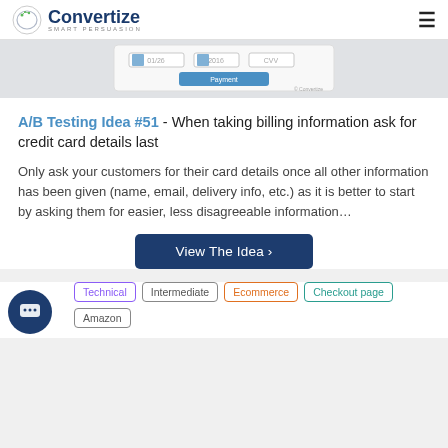Convertize SMART PERSUASION
[Figure (screenshot): Partial screenshot of a payment form with credit card fields and a 'Payment' button]
A/B Testing Idea #51 - When taking billing information ask for credit card details last
Only ask your customers for their card details once all other information has been given (name, email, delivery info, etc.) as it is better to start by asking them for easier, less disagreeable information...
View The Idea ›
Technical
Intermediate
Ecommerce
Checkout page
Amazon